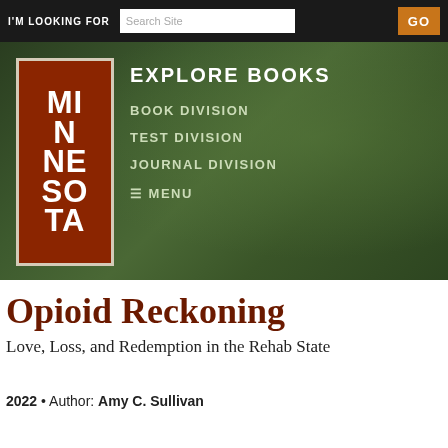I'M LOOKING FOR | Search Site | GO
[Figure (screenshot): University of Minnesota Press website banner with dark brown logo block showing 'MINNESOTA' stacked, navigation links: EXPLORE BOOKS, BOOK DIVISION, TEST DIVISION, JOURNAL DIVISION, MENU, on a dark green forest background]
Opioid Reckoning
Love, Loss, and Redemption in the Rehab State
2022 • Author: Amy C. Sullivan